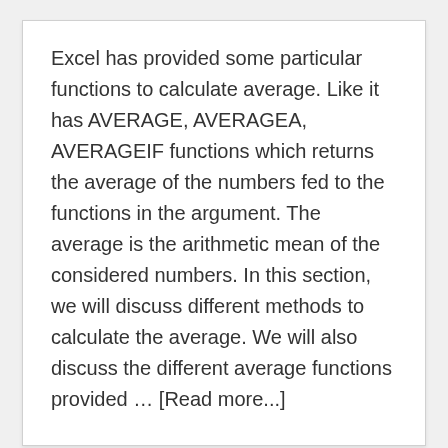Excel has provided some particular functions to calculate average. Like it has AVERAGE, AVERAGEA, AVERAGEIF functions which returns the average of the numbers fed to the functions in the argument. The average is the arithmetic mean of the considered numbers. In this section, we will discuss different methods to calculate the average. We will also discuss the different average functions provided … [Read more...]
How to Subtract in Excel?